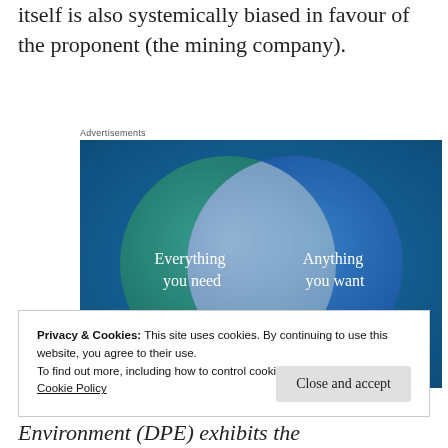itself is also systemically biased in favour of the proponent (the mining company).
Advertisements
[Figure (illustration): Venn diagram with two overlapping circles on a blue-green background. Left circle (teal/green) labeled 'Everything you need', right circle (blue) labeled 'Anything you want', with overlapping region in lighter blue.]
Privacy & Cookies: This site uses cookies. By continuing to use this website, you agree to their use.
To find out more, including how to control cookies, see here:
Cookie Policy
Environment (DPE) exhibits the